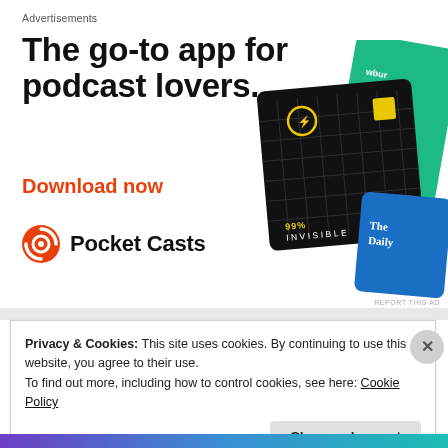Advertisements
The go-to app for podcast lovers.
Download now
[Figure (illustration): Pocket Casts app logo (circular red and white icon) with text 'Pocket Casts', alongside podcast cover art cards including '99% Invisible' (black grid card with yellow square), 'The Daily' (blue card), and a green card partially visible.]
REPORT THIS AD
Privacy & Cookies: This site uses cookies. By continuing to use this website, you agree to their use.
To find out more, including how to control cookies, see here: Cookie Policy
Close and accept